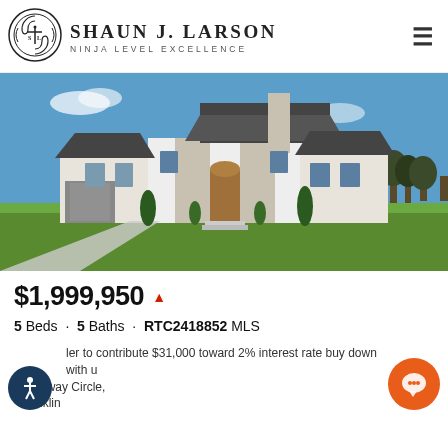[Figure (logo): Shaun J. Larson Ninja Level Excellence logo with circular emblem]
Shaun J. Larson Ninja Level Excellence
[Figure (photo): Large white and stone luxury house with dark roof, curved driveway, green lawn, and blue sky background]
$1,999,950
5 Beds · 5 Baths · RTC2418852 MLS
...ler to contribute $31,000 toward 2% interest rate buy down with u...
...lookaway Circle, Franklin